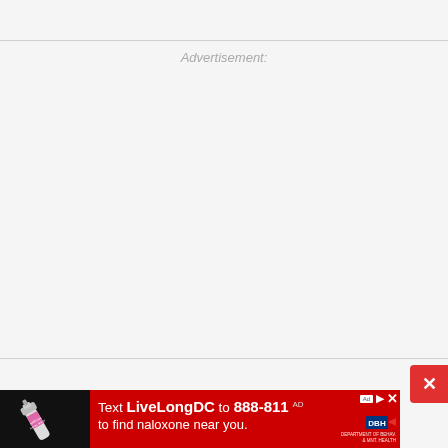Advertisement:
[Figure (infographic): Advertisement banner: Text LiveLongDC to 888-811 to find naloxone near you. Shows naloxone nasal spray on black background on the left, red background with white text on the right, with DBH logo and ad icons.]